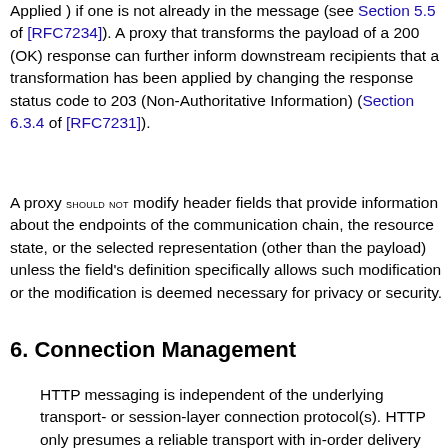Applied ) if one is not already in the message (see Section 5.5 of [RFC7234]). A proxy that transforms the payload of a 200 (OK) response can further inform downstream recipients that a transformation has been applied by changing the response status code to 203 (Non-Authoritative Information) (Section 6.3.4 of [RFC7231]).
A proxy SHOULD NOT modify header fields that provide information about the endpoints of the communication chain, the resource state, or the selected representation (other than the payload) unless the field's definition specifically allows such modification or the modification is deemed necessary for privacy or security.
6. Connection Management
HTTP messaging is independent of the underlying transport- or session-layer connection protocol(s). HTTP only presumes a reliable transport with in-order delivery